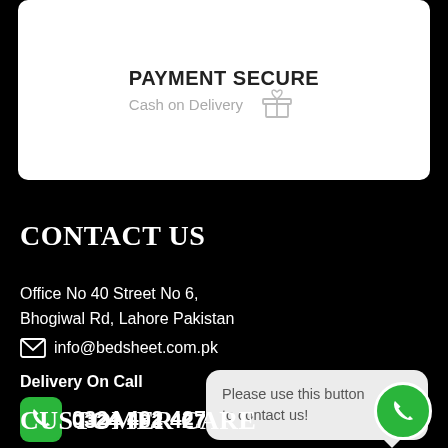PAYMENT SECURE
Cash on Delivery
CONTACT US
Office No 40 Street No 6,
Bhogiwal Rd, Lahore Pakistan
info@bedsheet.com.pk
Delivery On Call
0324 492 4274
0324 492 4274
Please use this button to contact us!
CUSTOMER CARE